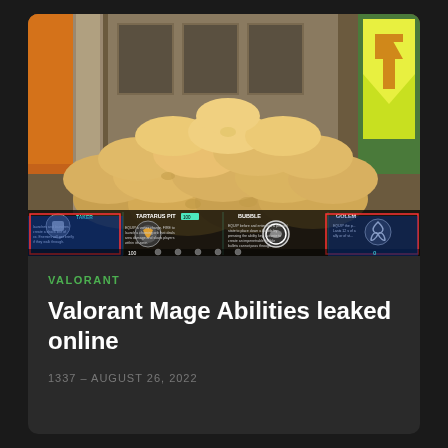[Figure (screenshot): Valorant game screenshot showing ability selection UI with sandbag pile environment, ability icons including Tartarus Pit, Bubble, and Golem, with red and blue highlights at bottom of screen]
VALORANT
Valorant Mage Abilities leaked online
1337 - AUGUST 26, 2022